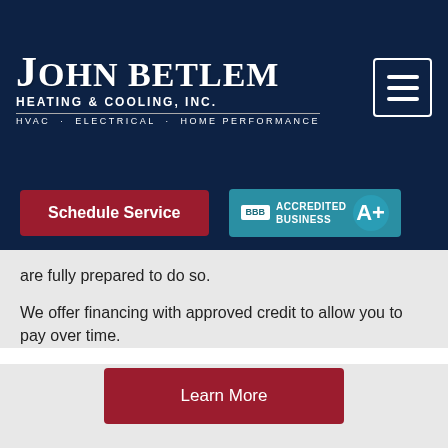[Figure (logo): John Betlem Heating & Cooling, Inc. logo — white serif text on dark navy background with tagline HVAC · ELECTRICAL · HOME PERFORMANCE]
[Figure (logo): BBB Accredited Business A+ badge in teal]
are fully prepared to do so.
We offer financing with approved credit to allow you to pay over time.
[Figure (other): Learn More red button]
[Figure (other): Satisfaction Guaranteed 100% seal badge — blue and silver embossed seal partially visible at bottom of page]